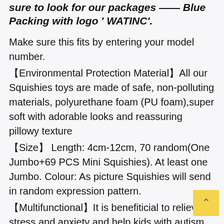sure to look for our packages —— Blue Packing with logo ' WATINC'.
Make sure this fits by entering your model number.
【Environmental Protection Material】All our Squishies toys are made of safe, non-polluting materials, polyurethane foam (PU foam),super soft with adorable looks and reassuring pillowy texture
【Size】 Length: 4cm-12cm, 70 random(One Jumbo+69 PCS Mini Squishies). At least one Jumbo. Colour: As picture Squishies will send in random expression pattern.
【Multifunctional】It is benefiticial to relieve stress and anxiety and help kids with autism or ADHD focus,to increase blood circulation of